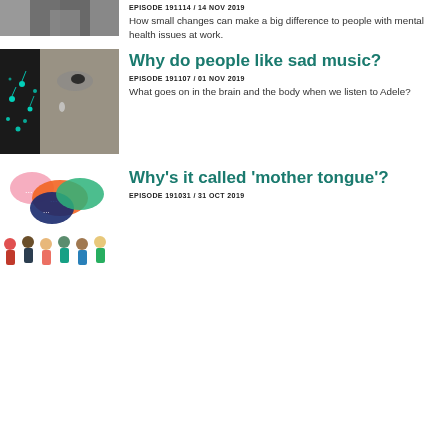[Figure (photo): Partial view of a person at the top of the page, dark background]
EPISODE 191114 / 14 NOV 2019
How small changes can make a big difference to people with mental health issues at work.
[Figure (photo): Black and white close-up of a person's face with glowing blue musical notes on the left side]
Why do people like sad music?
EPISODE 191107 / 01 NOV 2019
What goes on in the brain and the body when we listen to Adele?
[Figure (illustration): Colorful illustration of speech bubbles and diverse group of people talking]
Why's it called 'mother tongue'?
EPISODE 191031 / 31 OCT 2019